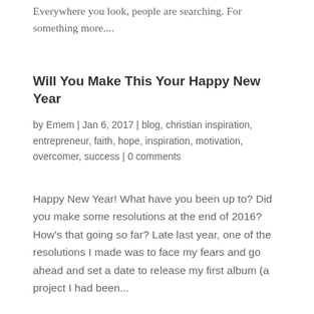Everywhere you look, people are searching. For something more....
Will You Make This Your Happy New Year
by Emem | Jan 6, 2017 | blog, christian inspiration, entrepreneur, faith, hope, inspiration, motivation, overcomer, success | 0 comments
Happy New Year!  What have you been up to? Did you make some resolutions at the end of 2016?  How's that going so far?  Late last year, one of the resolutions I made was to face my fears and go ahead and set a date to release my first album (a project I had been...
Finishing Powerfully And Have An Epic 2017 –